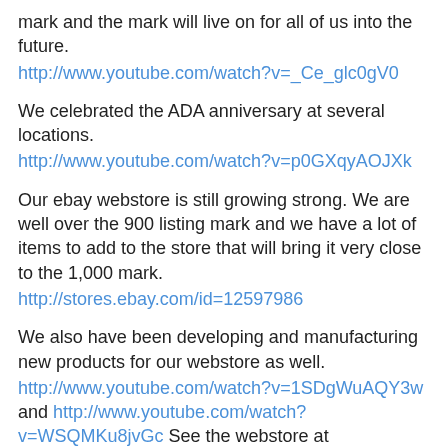mark and the mark will live on for all of us into the future.
http://www.youtube.com/watch?v=_Ce_glc0gV0
We celebrated the ADA anniversary at several locations.
http://www.youtube.com/watch?v=p0GXqyAOJXk
Our ebay webstore is still growing strong. We are well over the 900 listing mark and we have a lot of items to add to the store that will bring it very close to the 1,000 mark.
http://stores.ebay.com/id=12597986
We also have been developing and manufacturing new products for our webstore as well.
http://www.youtube.com/watch?v=1SDgWuAQY3w and http://www.youtube.com/watch?v=WSQMKu8jvGc See the webstore at http://www.tinyurl.com/ocdac
We are working on a new simpler newsletter format that will get the messages straight to you while minimizing the advertisements. We will make it more appetizing for you to find our newsletter, like what we do, and support us for what we are doing.